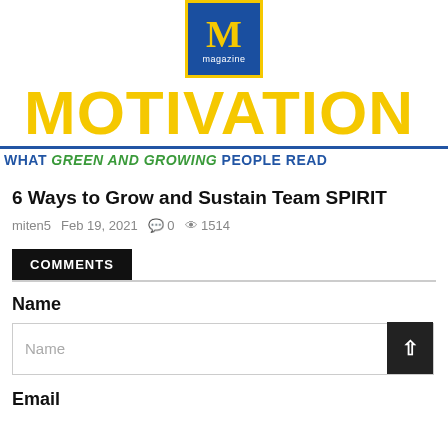[Figure (logo): Motivation Magazine logo: blue square with gold M and 'magazine' text below, large gold MOTIVATION text, blue horizontal rule, tagline 'WHAT GREEN AND GROWING PEOPLE READ']
6 Ways to Grow and Sustain Team SPIRIT
miten5  Feb 19, 2021  💬 0  👁 1514
COMMENTS
Name
Name (placeholder)
Email